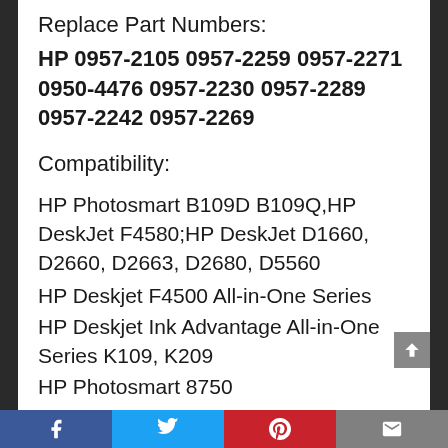Replace Part Numbers:
HP 0957-2105 0957-2259 0957-2271 0950-4476 0957-2230 0957-2289 0957-2242 0957-2269
Compatibility:
HP Photosmart B109D B109Q,HP DeskJet F4580;HP DeskJet D1660, D2660, D2663, D2680, D5560
HP Deskjet F4500 All-in-One Series
HP Deskjet Ink Advantage All-in-One Series K109, K209
HP Photosmart 8750
HP PHOTOSMART C4640 ALL-IN-ONE PRINTER